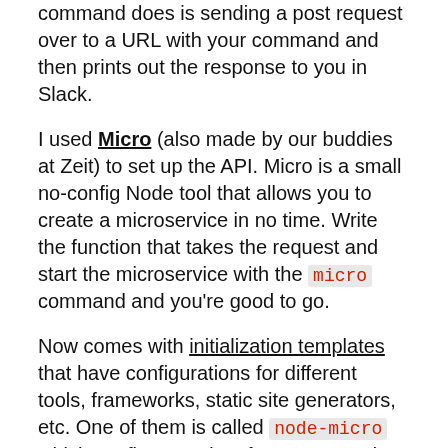command does is sending a post request over to a URL with your command and then prints out the response to you in Slack.
I used Micro (also made by our buddies at Zeit) to set up the API. Micro is a small no-config Node tool that allows you to create a microservice in no time. Write the function that takes the request and start the microservice with the micro command and you're good to go.
Now comes with initialization templates that have configurations for different tools, frameworks, static site generators, etc. One of them is called node-micro which configures Micro for Now. In order to use it, type now init and then choose node-micro.
It works out of the box. If you start the now dev command, localhost:3000 ...